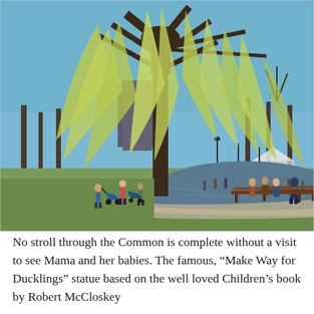[Figure (photo): A sunny spring day in Boston Common. Large weeping willow tree dominates the foreground near a pond. People sit on wooden park benches by the water. Others stroll along a path with strollers. Bare trees line the background. Buildings visible in the distance under a clear blue sky.]
No stroll through the Common is complete without a visit to see Mama and her babies. The famous, “Make Way for Ducklings” statue based on the well loved Children’s book by Robert McCloskey